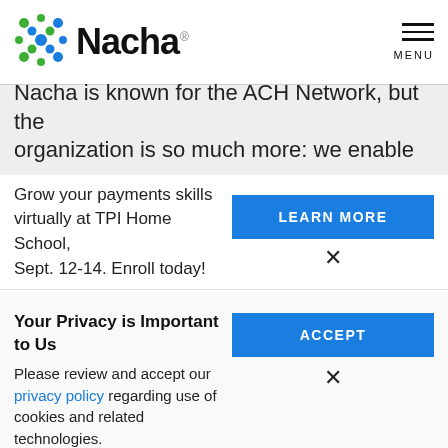Nacha — logo and navigation header
Nacha is known for the ACH Network, but the organization is so much more: we enable
Grow your payments skills virtually at TPI Home School, Sept. 12-14. Enroll today!
LEARN MORE
Your Privacy is Important to Us
Please review and accept our privacy policy regarding use of cookies and related technologies.
ACCEPT